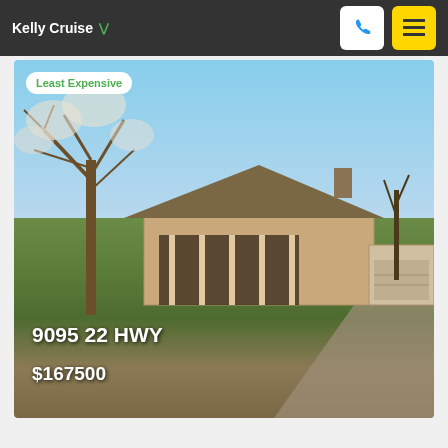Kelly Cruise
[Figure (photo): Exterior photo of a ranch-style brick home at 9095 22 HWY sitting on a hillside with a large bare tree to the left, green lawn, gravel driveway, and a covered front porch. A 'Least Expensive' badge appears in the top left corner. Property address '9095 22 HWY' and price '$167500' are overlaid in white text on the lower left of the image.]
9095 22 HWY
$167500